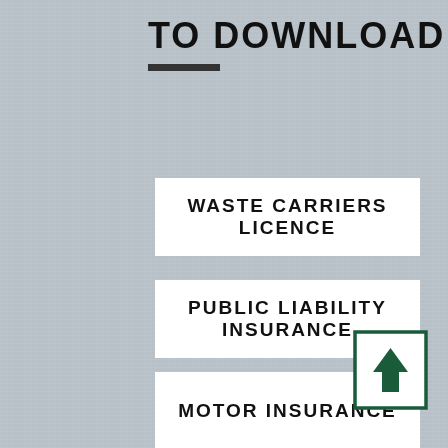TO DOWNLOAD
WASTE CARRIERS LICENCE
PUBLIC LIABILITY INSURANCE
MOTOR INSURANCE
SITE LICENCE
[Figure (illustration): Upload/download icon: a white square with a dark green border containing an upward-pointing arrow in dark green]